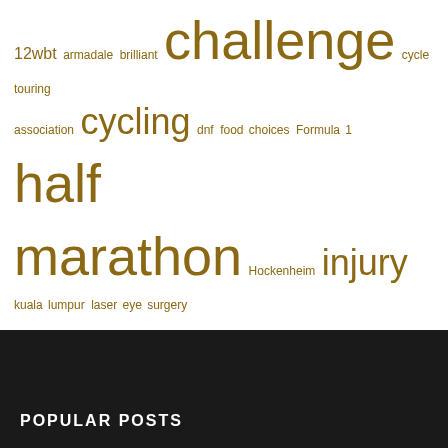[Figure (other): A tag cloud with words in varying sizes in golden/brown color on white background. Words include: 12wbt, armadale, brilliant, challenge, cycle touring, association, cycling, dnf, food choices, Formula 1, half marathon, Hockenheim, injury, kuala lumpur, laser eye surgery, lasik, livejournal, marathon, mojo, nope nope nope, nostalgia, opinion, optimax Malaysia, parkrun, perth trail series, regret, relex smile, running, six inch, swimming, the rebuilding trail, triathlon, welshpool road, what is seen cannot be unseen]
POPULAR POSTS